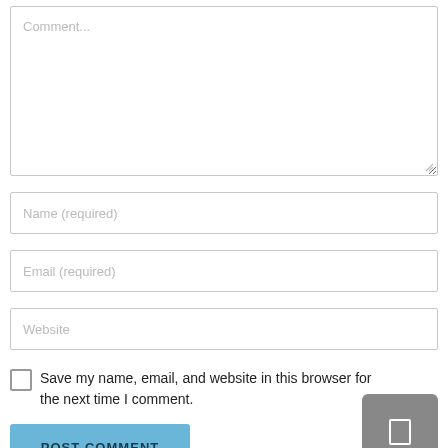[Figure (screenshot): Comment form with textarea placeholder 'Comment...', input fields for 'Name (required)', 'Email (required)', 'Website', a checkbox with label 'Save my name, email, and website in this browser for the next time I comment.', a gray button with an icon on the right, and a blue 'POST COMMENT' button at the bottom.]